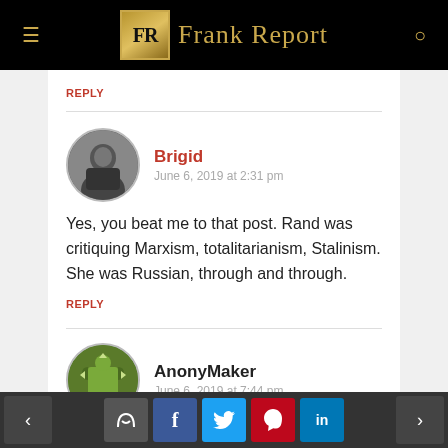FR Frank Report
REPLY
Brigid
June 6, 2019 at 2:31 pm
Yes, you beat me to that post. Rand was critiquing Marxism, totalitarianism, Stalinism. She was Russian, through and through.
REPLY
AnonyMaker
June 6, 2019 at 7:44 pm
< [comment] [f] [t] [p] [in] >